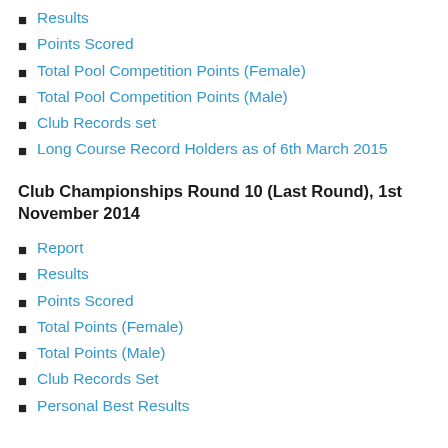Results
Points Scored
Total Pool Competition Points (Female)
Total Pool Competition Points (Male)
Club Records set
Long Course Record Holders as of 6th March 2015
Club Championships Round 10 (Last Round), 1st November 2014
Report
Results
Points Scored
Total Points (Female)
Total Points (Male)
Club Records Set
Personal Best Results